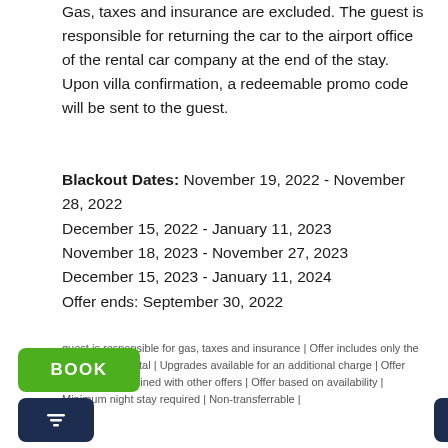Gas, taxes and insurance are excluded. The guest is responsible for returning the car to the airport office of the rental car company at the end of the stay. Upon villa confirmation, a redeemable promo code will be sent to the guest.
Blackout Dates: November 19, 2022 - November 28, 2022
December 15, 2022 - January 11, 2023
November 18, 2023 - November 27, 2023
December 15, 2023 - January 11, 2024
Offer ends: September 30, 2022
guest is responsible for gas, taxes and insurance | Offer includes only the base rate of rental | Upgrades available for an additional charge | Offer cannot be combined with other offers | Offer based on availability | Minimum night stay required | Non-transferrable |